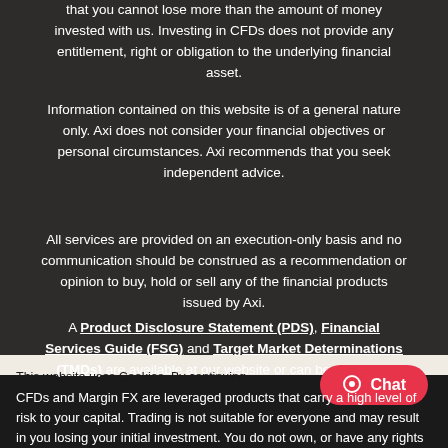that you cannot lose more than the amount of money invested with us. Investing in CFDs does not provide any entitlement, right or obligation to the underlying financial asset.
Information contained on this website is of a general nature only. Axi does not consider your financial objectives or personal circumstances. Axi recommends that you seek independent advice.
All services are provided on an execution-only basis and no communication should be construed as a recommendation or opinion to buy, hold or sell any of the financial products issued by Axi.
A Product Disclosure Statement (PDS), Financial Services Guide (FSG) and Target Market Determinations (TMDs) are available at our website or can be obtaine...
This website uses Cookies. By continuing to use this ... agree to this Cookie Policy.
CFDs and Margin FX are leveraged products that carry a high level of risk to your capital. Trading is not suitable for everyone and may result in you losing your initial investment. You do not own, or have any rights to, the underlying assets.